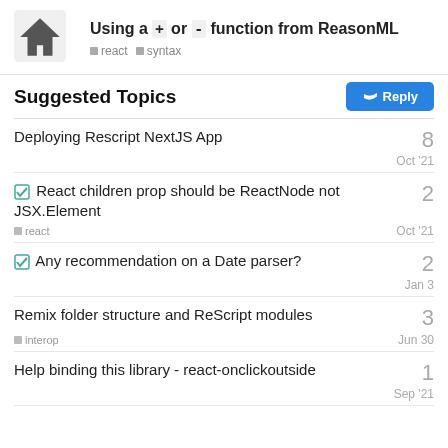Using a `+` or `-` function from ReasonML — react · syntax
Suggested Topics
Deploying Rescript NextJS App — 8 — Oct '21
React children prop should be ReactNode not JSX.Element — react — 2 — Oct '21
Any recommendation on a Date parser? — 2 — Jan 3
Remix folder structure and ReScript modules — interop — 3 — Jun 30
Help binding this library - react-onclickoutside — 1 — Sep '21